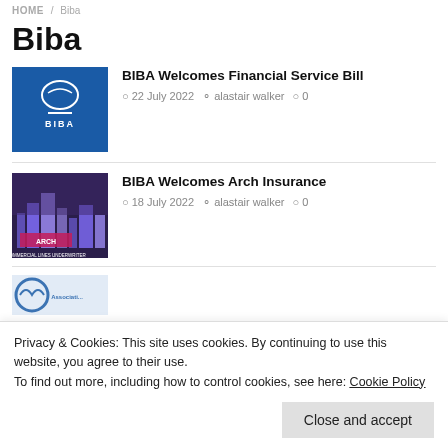HOME / Biba
Biba
[Figure (photo): BIBA logo on blue background]
BIBA Welcomes Financial Service Bill
22 July 2022  alastair walker  0
[Figure (photo): ARCH commercial lines underwriter city skyline photo]
BIBA Welcomes Arch Insurance
18 July 2022  alastair walker  0
Privacy & Cookies: This site uses cookies. By continuing to use this website, you agree to their use.
To find out more, including how to control cookies, see here: Cookie Policy
Close and accept